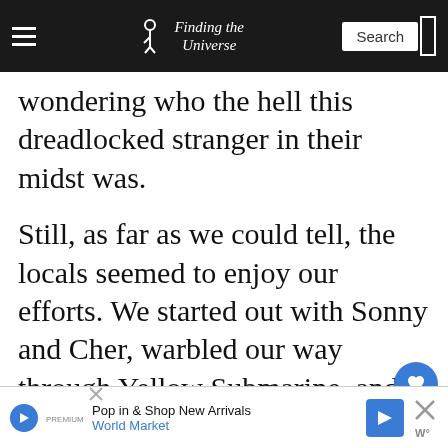Finding the Universe
wondering who the hell this dreadlocked stranger in their midst was.
Still, as far as we could tell, the locals seemed to enjoy our efforts. We started out with Sonny and Cher, warbled our way through Yellow Submarine, and before you knew it were rocking our way through Back. As the night progressed, total st...
[Figure (other): WHAT'S NEXT arrow label with thumbnail image and text: Frittering my life away: a...]
[Figure (other): Advertisement bar: Pop in & Shop New Arrivals, World Market, with play button, navigation arrow icon, and close button]